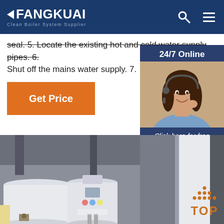FANGKUAI - Clean Boiler System Supplier
seal. 5. Locate the existing hot and cold water supply pipes. 6. Shut off the mains water supply. 7.
Get Price
24/7 Online
[Figure (photo): Woman with headset, customer service representative]
Click here for free chat !
QUOTATION
[Figure (photo): Fangkuai boiler system photo showing large white cylindrical boiler units in an industrial setting]
TOP